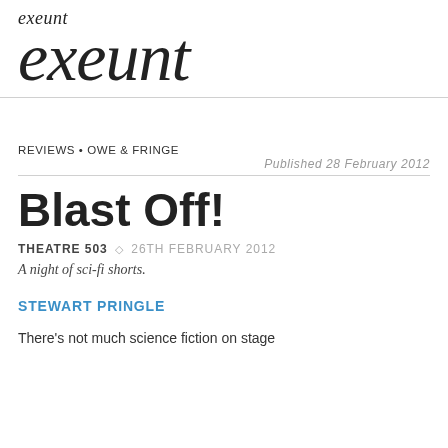exeunt
exeunt
REVIEWS • OWE & FRINGE
Published 28 February 2012
Blast Off!
THEATRE 503 ◇ 26TH FEBRUARY 2012
A night of sci-fi shorts.
STEWART PRINGLE
There's not much science fiction on stage